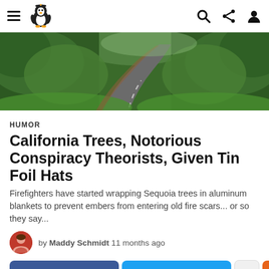Humor news site navigation bar with hamburger menu, penguin logo, search, share, and profile icons
[Figure (photo): Wide hero photo of a winding road curving through a lush green forest with tall trees on both sides]
HUMOR
California Trees, Notorious Conspiracy Theorists, Given Tin Foil Hats
Firefighters have started wrapping Sequoia trees in aluminum blankets to prevent embers from entering old fire scars... or so they say...
by Maddy Schmidt 11 months ago
Facebook share button, Twitter share button, upvote button, scroll-to-top button